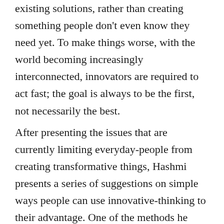existing solutions, rather than creating something people don't even know they need yet. To make things worse, with the world becoming increasingly interconnected, innovators are required to act fast; the goal is always to be the first, not necessarily the best.
After presenting the issues that are currently limiting everyday-people from creating transformative things, Hashmi presents a series of suggestions on simple ways people can use innovative-thinking to their advantage. One of the methods he mentions is thinking, talking, and essentially behaving like a human. According to Hashmi, often times when we focus on product or